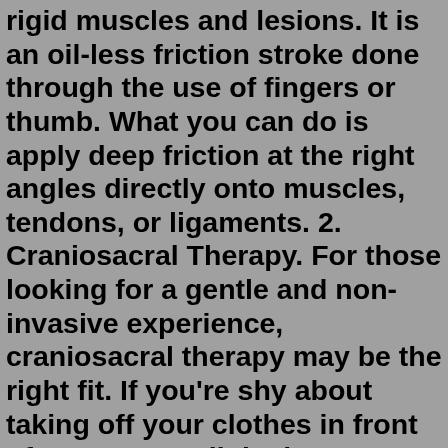rigid muscles and lesions. It is an oil-less friction stroke done through the use of fingers or thumb. What you can do is apply deep friction at the right angles directly onto muscles, tendons, or ligaments. 2. Craniosacral Therapy. For those looking for a gentle and non-invasive experience, craniosacral therapy may be the right fit. If you're shy about taking off your clothes in front of a stranger, all the better. Practitioners of craniosacral therapy will often massage you fully clothed, with light and still movements. 1. Amma Therapy. This type of body therapy combines several massage techniques into one session. Amma therapy uses a push-pull motion to rejuvenate the body. The goal of this type of therapy is to restore energy flow. 2. Ayurvedic Massage. This type of massage is similar to acupressure, but it comes from India instead of from China.Jul 27, 2022 · This type of massage is a bit different than the rest because it uses different levels of pressure on pressure points found in the hands, feet and ears. It's helpful for people wanting to restore their natural energy levels